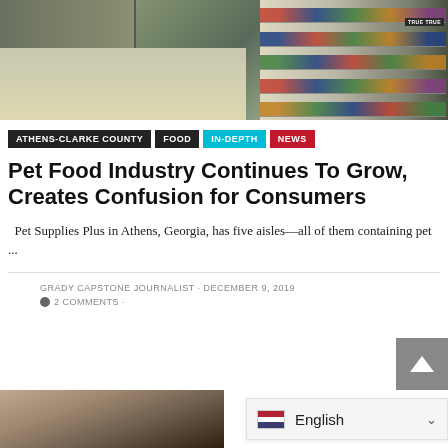[Figure (photo): Interior of a pet supply store showing long aisles with shelves stocked with pet food products, including True brand products visible on the right side.]
ATHENS-CLARKE COUNTY   FOOD   IN-DEPTH   NEWS
Pet Food Industry Continues To Grow, Creates Confusion for Consumers
Pet Supplies Plus in Athens, Georgia, has five aisles—all of them containing pet ...
GRADY CAPSTONE JOURNALIST · DECEMBER 9, 2019
● 2 COMMENTS ·
[Figure (photo): Partial photo of a person (woman with dark hair and dark nail polish), cropped at bottom of page.]